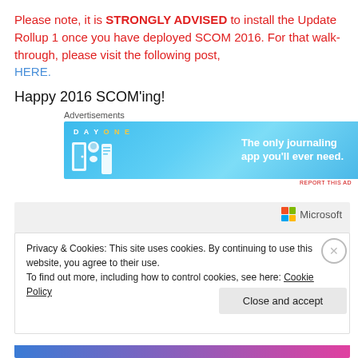Please note, it is STRONGLY ADVISED to install the Update Rollup 1 once you have deployed SCOM 2016. For that walk-through, please visit the following post, HERE.
Happy 2016 SCOM'ing!
[Figure (other): Day One app advertisement banner: light blue background with Day One logo icons and text 'The only journaling app you'll ever need.']
[Figure (screenshot): Cookie consent overlay with Microsoft logo, privacy and cookies notice, Cookie Policy link, and 'Close and accept' button.]